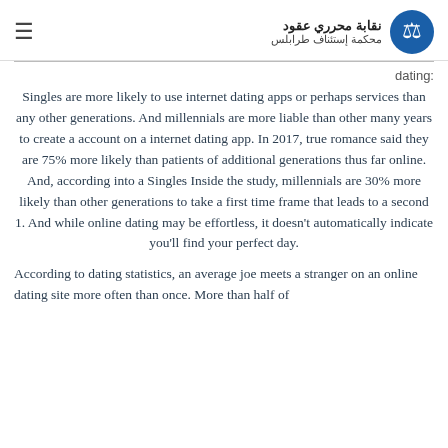نقابة محرري عقود / محكمة إستئناف طرابلس
dating:
Singles are more likely to use internet dating apps or perhaps services than any other generations. And millennials are more liable than other many years to create a account on a internet dating app. In 2017, true romance said they are 75% more likely than patients of additional generations thus far online. And, according into a Singles Inside the study, millennials are 30% more likely than other generations to take a first time frame that leads to a second 1. And while online dating may be effortless, it doesn't automatically indicate you'll find your perfect day.
According to dating statistics, an average joe meets a stranger on an online dating site more often than once. More than half of